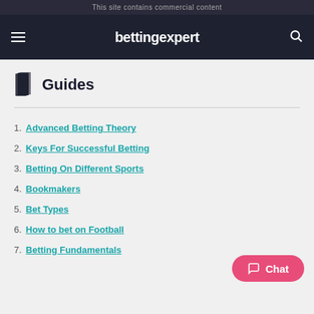This site contains commercial content
bettingexpert
Guides
1. Advanced Betting Theory
2. Keys For Successful Betting
3. Betting On Different Sports
4. Bookmakers
5. Bet Types
6. How to bet on Football
7. Betting Fundamentals